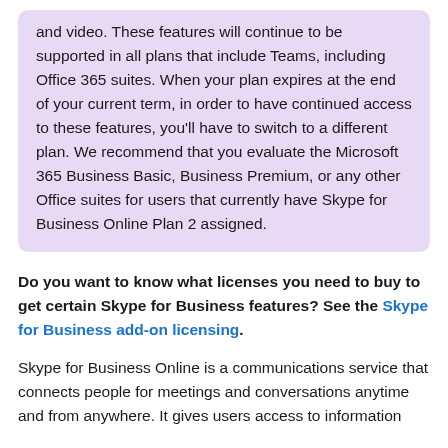and video. These features will continue to be supported in all plans that include Teams, including Office 365 suites. When your plan expires at the end of your current term, in order to have continued access to these features, you'll have to switch to a different plan. We recommend that you evaluate the Microsoft 365 Business Basic, Business Premium, or any other Office suites for users that currently have Skype for Business Online Plan 2 assigned.
Do you want to know what licenses you need to buy to get certain Skype for Business features? See the Skype for Business add-on licensing.
Skype for Business Online is a communications service that connects people for meetings and conversations anytime and from anywhere. It gives users access to information about...